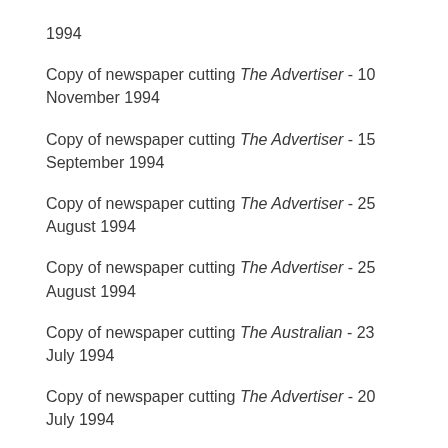1994
Copy of newspaper cutting The Advertiser - 10 November 1994
Copy of newspaper cutting The Advertiser - 15 September 1994
Copy of newspaper cutting The Advertiser - 25 August 1994
Copy of newspaper cutting The Advertiser - 25 August 1994
Copy of newspaper cutting The Australian - 23 July 1994
Copy of newspaper cutting The Advertiser - 20 July 1994